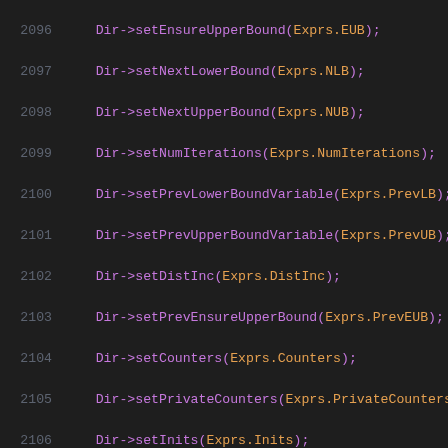[Figure (screenshot): Source code listing showing lines 2096-2117 of code with method calls on a Dir object using Exprs fields, displayed in a dark-themed code editor with line numbers in gray, method names in purple, and argument fields in orange/yellow.]